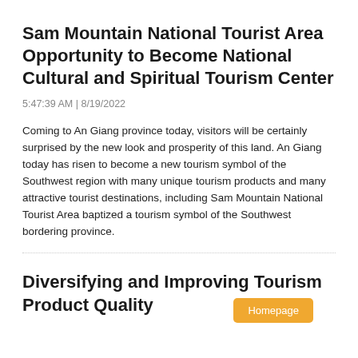Sam Mountain National Tourist Area Opportunity to Become National Cultural and Spiritual Tourism Center
5:47:39 AM | 8/19/2022
Coming to An Giang province today, visitors will be certainly surprised by the new look and prosperity of this land. An Giang today has risen to become a new tourism symbol of the Southwest region with many unique tourism products and many attractive tourist destinations, including Sam Mountain National Tourist Area baptized a tourism symbol of the Southwest bordering province.
Diversifying and Improving Tourism Product Quality
Homepage